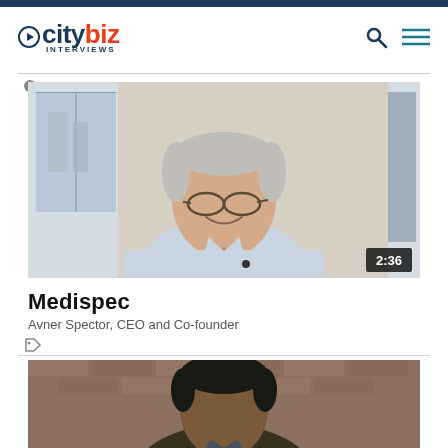citybiz INTERVIEWS
[Figure (photo): Video thumbnail showing an older man with gray hair, glasses, wearing a light blue shirt and dark tie, smiling, seated in an office setting with windows in the background. Duration badge shows 2:36.]
Medispec
Avner Spector, CEO and Co-founder
[Figure (photo): Partially visible video thumbnail showing a man with dark hair against a brick wall background.]